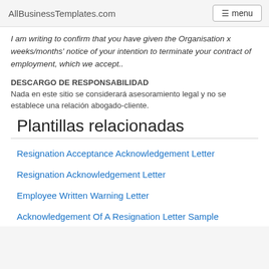AllBusinessTemplates.com   menu
I am writing to confirm that you have given the Organisation x weeks/months' notice of your intention to terminate your contract of employment, which we accept..
DESCARGO DE RESPONSABILIDAD
Nada en este sitio se considerará asesoramiento legal y no se establece una relación abogado-cliente.
Plantillas relacionadas
Resignation Acceptance Acknowledgement Letter
Resignation Acknowledgement Letter
Employee Written Warning Letter
Acknowledgement Of A Resignation Letter Sample